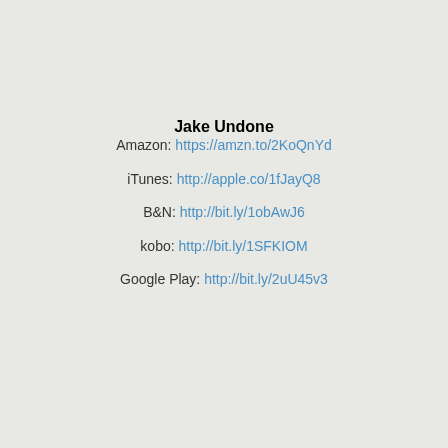Jake Undone
Amazon: https://amzn.to/2KoQnYd
iTunes: http://apple.co/1fJayQ8
B&N: http://bit.ly/1obAwJ6
kobo: http://bit.ly/1SFKIOM
Google Play: http://bit.ly/2uU45v3